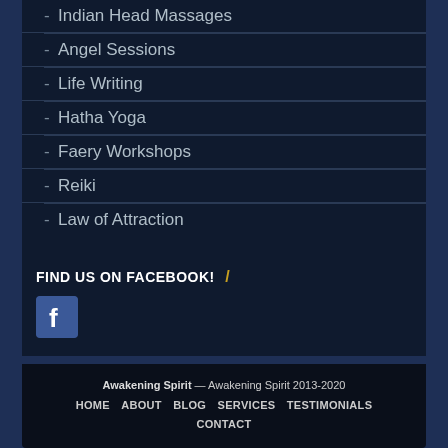Indian Head Massages
Angel Sessions
Life Writing
Hatha Yoga
Faery Workshops
Reiki
Law of Attraction
FIND US ON FACEBOOK! /
[Figure (logo): Facebook icon — blue rounded square with white F logo]
Awakening Spirit — Awakening Spirit 2013-2020  HOME   ABOUT   BLOG   SERVICES   TESTIMONIALS   CONTACT